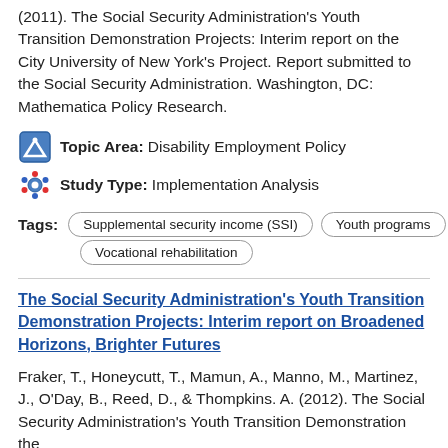(2011). The Social Security Administration's Youth Transition Demonstration Projects: Interim report on the City University of New York's Project. Report submitted to the Social Security Administration. Washington, DC: Mathematica Policy Research.
Topic Area: Disability Employment Policy
Study Type: Implementation Analysis
Tags: Supplemental security income (SSI)  Youth programs  Vocational rehabilitation
The Social Security Administration's Youth Transition Demonstration Projects: Interim report on Broadened Horizons, Brighter Futures
Fraker, T., Honeycutt, T., Mamun, A., Manno, M., Martinez, J., O'Day, B., Reed, D., & Thompkins. A. (2012). The Social Security Administration's Youth Transition Demonstration the...